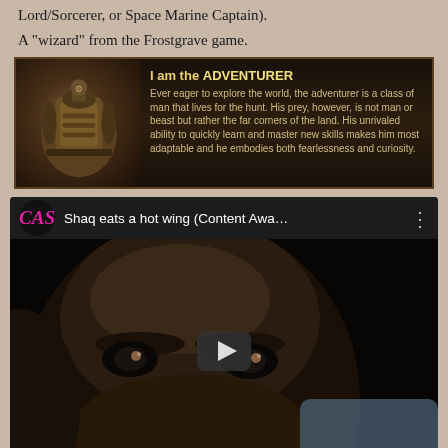Lord/Sorcerer, or Space Marine Captain).
A "wizard" from the Frostgrave game.
[Figure (screenshot): Game banner showing 'I am the ADVENTURER' with fantasy RPG art of a backpack/traveler and descriptive text about the adventurer class]
[Figure (screenshot): YouTube video thumbnail showing 'Shaq eats a hot wing (Content Awa...' with CAS channel logo and close-up face image with play button]